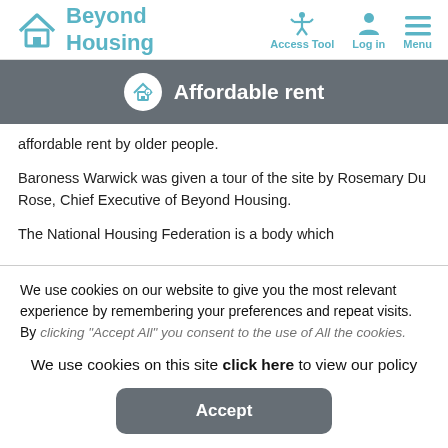Beyond Housing — Access Tool, Log in, Menu
Affordable rent
affordable rent by older people.
Baroness Warwick was given a tour of the site by Rosemary Du Rose, Chief Executive of Beyond Housing.
The National Housing Federation is a body which
We use cookies on our website to give you the most relevant experience by remembering your preferences and repeat visits. By clicking "Accept All" you consent to the use of All the cookies.
We use cookies on this site click here to view our policy
Accept